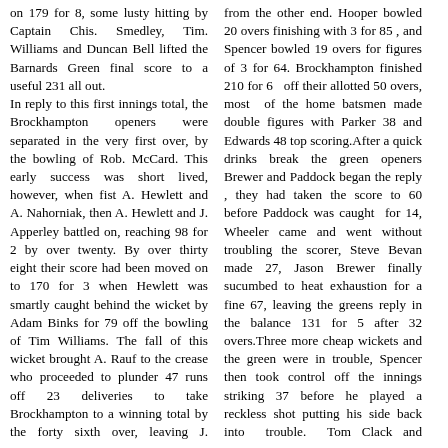on 179 for 8, some lusty hitting by Captain Chis. Smedley, Tim. Williams and Duncan Bell lifted the Barnards Green final score to a useful 231 all out. In reply to this first innings total, the Brockhampton openers were separated in the very first over, by the bowling of Rob. McCard. This early success was short lived, however, when fist A. Hewlett and A. Nahorniak, then A. Hewlett and J. Apperley battled on, reaching 98 for 2 by over twenty. By over thirty eight their score had been moved on to 170 for 3 when Hewlett was smartly caught behind the wicket by Adam Binks for 79 off the bowling of Tim Williams. The fall of this wicket brought A. Rauf to the crease who proceeded to plunder 47 runs off 23 deliveries to take Brockhampton to a winning total by the forty sixth over, leaving J. Apperley on 39 not out. Once more a respectable total by the Green's batsmen could not be protected by the bowlers and fielders due to some wayward overs being served up by the home sides bowling attack. Of the six bowlers used only
from the other end. Hooper bowled 20 overs finishing with 3 for 85 , and Spencer bowled 19 overs for figures of 3 for 64. Brockhampton finished 210 for 6 off their allotted 50 overs, most of the home batsmen made double figures with Parker 38 and Edwards 48 top scoring.After a quick drinks break the green openers Brewer and Paddock began the reply , they had taken the score to 60 before Paddock was caught for 14, Wheeler came and went without troubling the scorer, Steve Bevan made 27, Jason Brewer finally sucumbed to heat exhaustion for a fine 67, leaving the greens reply in the balance 131 for 5 after 32 overs.Three more cheap wickets and the green were in trouble, Spencer then took control off the innings striking 37 before he played a reckless shot putting his side back into trouble. Tom Clack and Glendenning moved the total closer to the target before a mix up saw Clack runout for 12, Glendenning and Shane Thompson moved the green to within 1 run of Brockhamptons score when Glendenning was bowled for 16